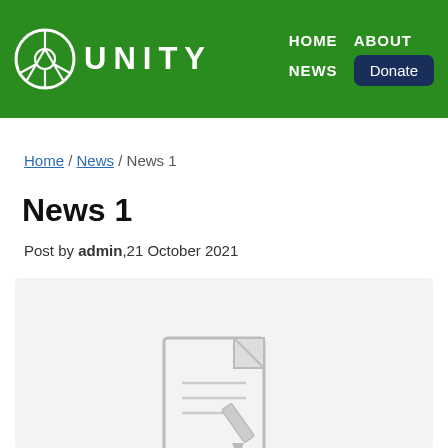UNITY — HOME | ABOUT | NEWS | Donate
Home / News / News 1
News 1
Post by admin,21 October 2021
[Figure (illustration): Light grey background panel with a partial illustration of a document/paper icon at the bottom center]